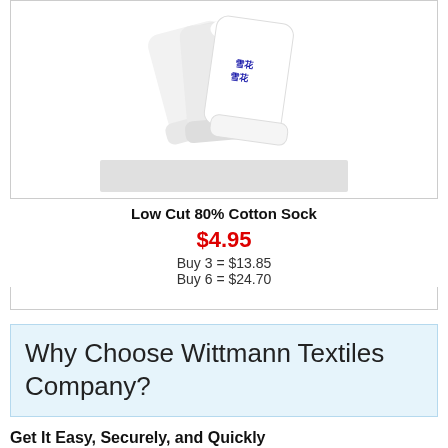[Figure (photo): Three white low-cut cotton socks with blue logo text, shown fanned out against white background]
Low Cut 80% Cotton Sock
$4.95
Buy 3 = $13.85
Buy 6 = $24.70
Why Choose Wittmann Textiles Company?
Get It Easy, Securely, and Quickly
• Shop online 24 hours a day and 7 days a week
• Most order will be shipped same day Monday-